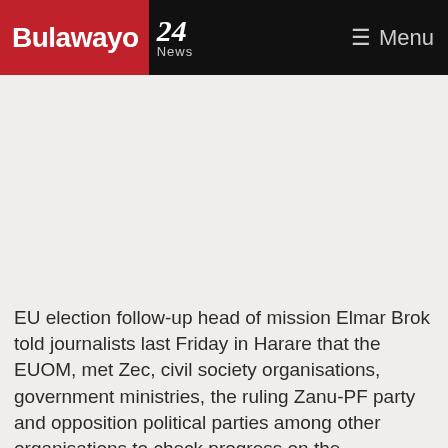Bulawayo 24 News   Menu
[Figure (other): Advertisement/blank space area]
EU election follow-up head of mission Elmar Brok told journalists last Friday in Harare that the EUOM, met Zec, civil society organisations, government ministries, the ruling Zanu-PF party and opposition political parties among other organisations to check progress on the implementation of the recommended electoral reforms.